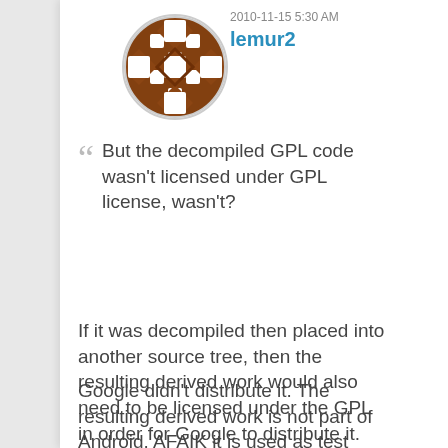[Figure (illustration): Circular avatar icon with a brown geometric/diamond-grid pattern on a white background]
2010-11-15 5:30 AM
lemur2
But the decompiled GPL code wasn't licensed under GPL license, wasn't?
If it was decompiled then placed into another source tree, then the resulting derived work would also need to be licensed under the GPL in order for Google to distribute it.
Google didn't distribute it. The resulting derived work is not part of Android. AFAIK it is used as test code only, in the process of making Android. In other words, this